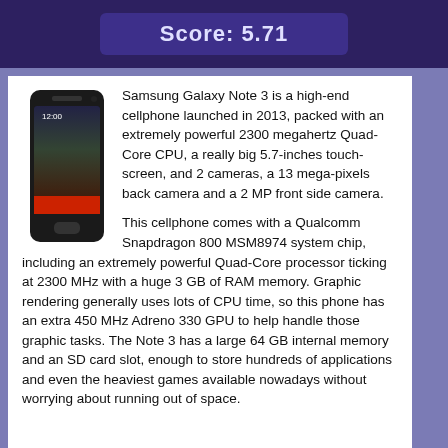Score: 5.71
[Figure (photo): Samsung Galaxy Note 3 smartphone image showing front face of the device with a dark color]
Samsung Galaxy Note 3 is a high-end cellphone launched in 2013, packed with an extremely powerful 2300 megahertz Quad-Core CPU, a really big 5.7-inches touch-screen, and 2 cameras, a 13 mega-pixels back camera and a 2 MP front side camera.
This cellphone comes with a Qualcomm Snapdragon 800 MSM8974 system chip, including an extremely powerful Quad-Core processor ticking at 2300 MHz with a huge 3 GB of RAM memory. Graphic rendering generally uses lots of CPU time, so this phone has an extra 450 MHz Adreno 330 GPU to help handle those graphic tasks. The Note 3 has a large 64 GB internal memory and an SD card slot, enough to store hundreds of applications and even the heaviest games available nowadays without worrying about running out of space.